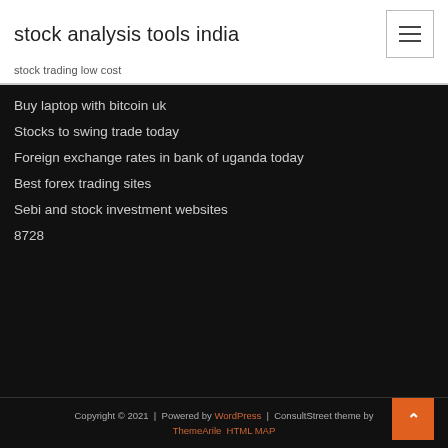stock analysis tools india
stock trading low cost
Buy laptop with bitcoin uk
Stocks to swing trade today
Foreign exchange rates in bank of uganda today
Best forex trading sites
Sebi and stock investment websites
8728
Copyright © 2021 | Powered by WordPress | ConsultStreet theme by ThemeArile HTML MAP